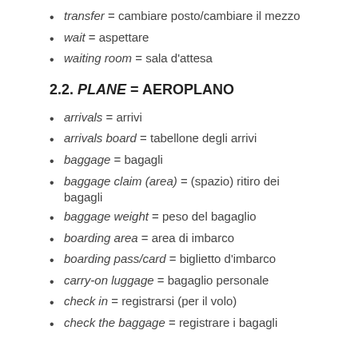transfer = cambiare posto/cambiare il mezzo
wait = aspettare
waiting room = sala d'attesa
2.2. PLANE = AEROPLANO
arrivals = arrivi
arrivals board = tabellone degli arrivi
baggage = bagagli
baggage claim (area) = (spazio) ritiro dei bagagli
baggage weight = peso del bagaglio
boarding area = area di imbarco
boarding pass/card = biglietto d'imbarco
carry-on luggage = bagaglio personale
check in = registrarsi (per il volo)
check the baggage = registrare i bagagli